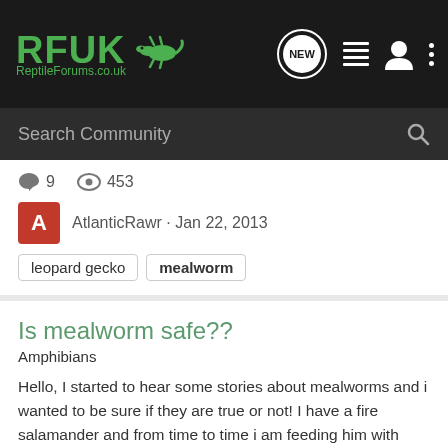RFUK ReptileForums.co.uk — navigation bar with NEW, list, user, and menu icons
Search Community
9  453
AtlanticRawr · Jan 22, 2013
leopard gecko
mealworm
Is mealworm safe??
Amphibians
Hello, I started to hear some stories about mealworms and i wanted to be sure if they are true or not! I have a fire salamander and from time to time i am feeding him with mealworm. Some people says i need to smash the head because they may bite salamander from inside!!! Does anyone have any...
2  503